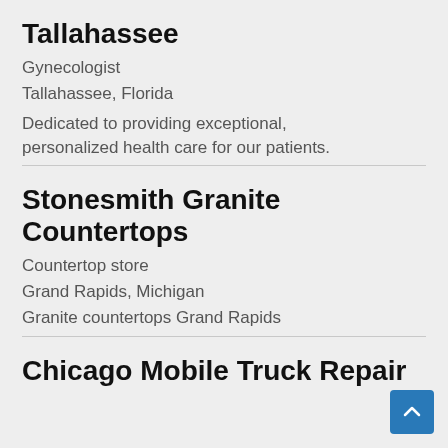Tallahassee
Gynecologist
Tallahassee, Florida
Dedicated to providing exceptional, personalized health care for our patients.
Stonesmith Granite Countertops
Countertop store
Grand Rapids, Michigan
Granite countertops Grand Rapids
Chicago Mobile Truck Repair